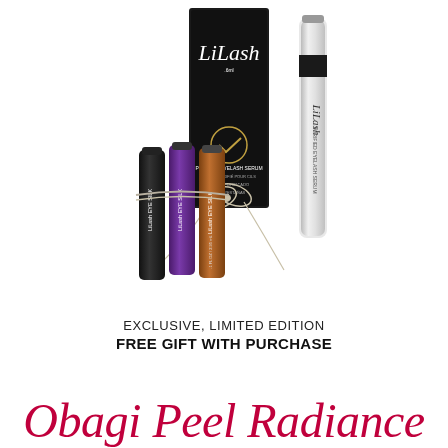[Figure (photo): LiLash product set: black box packaging, silver tube serum, and three small Eye Silk bottles (black, purple, bronze/gold) tied with a ribbon bow, displayed on white background.]
EXCLUSIVE, LIMITED EDITION
FREE GIFT WITH PURCHASE
Obagi Peel Radiance